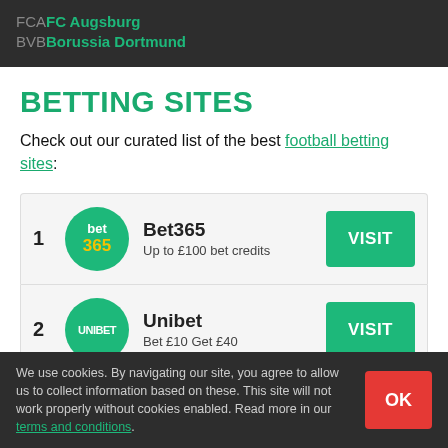FCA FC Augsburg
BVB Borussia Dortmund
BETTING SITES
Check out our curated list of the best football betting sites:
1 Bet365 — Up to £100 bet credits — VISIT
2 Unibet — Bet £10 Get £40 — VISIT
We use cookies. By navigating our site, you agree to allow us to collect information based on these. This site will not work properly without cookies enabled. Read more in our terms and conditions.